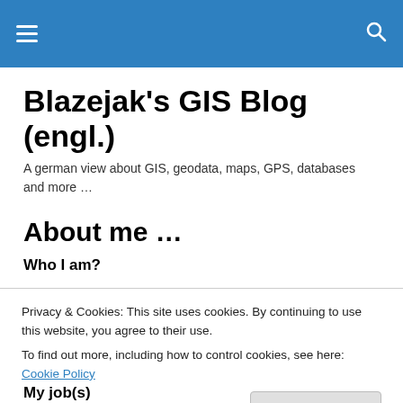≡  🔍
Blazejak's GIS Blog (engl.)
A german view about GIS, geodata, maps, GPS, databases and more …
About me …
Who I am?
Privacy & Cookies: This site uses cookies. By continuing to use this website, you agree to their use.
To find out more, including how to control cookies, see here: Cookie Policy
My job(s)